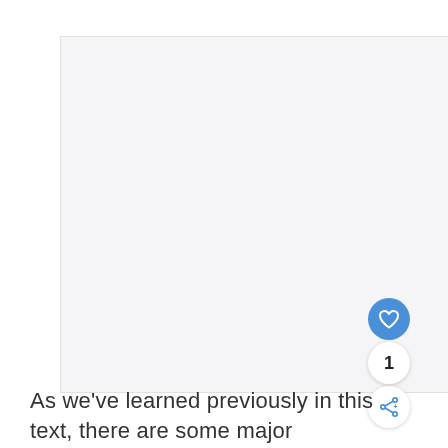[Figure (other): Large light gray rectangular image placeholder area]
As we've learned previously in this text, there are some major differences between regular and beach soccer: